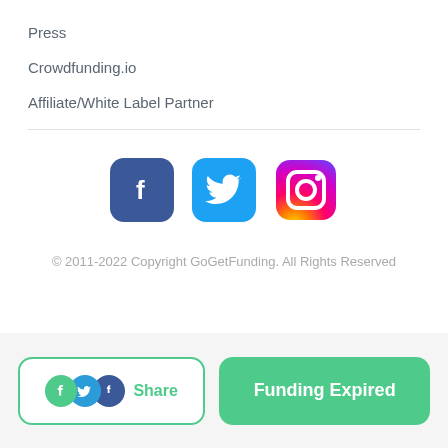Press
Crowdfunding.io
Affiliate/White Label Partner
[Figure (infographic): Social media icons: Facebook (dark blue rounded square with f), Twitter (light blue rounded square with bird), Instagram (gradient rounded square with camera)]
© 2011-2022 Copyright GoGetFunding. All Rights Reserved
[Figure (infographic): Share button with overlapping circle icons (green, blue, Facebook blue) and text 'Share', and a green rounded button labeled 'Funding Expired']